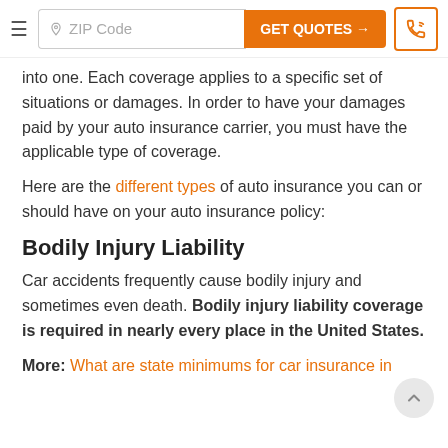ZIP Code | GET QUOTES →
into one. Each coverage applies to a specific set of situations or damages. In order to have your damages paid by your auto insurance carrier, you must have the applicable type of coverage.
Here are the different types of auto insurance you can or should have on your auto insurance policy:
Bodily Injury Liability
Car accidents frequently cause bodily injury and sometimes even death. Bodily injury liability coverage is required in nearly every place in the United States.
More: What are state minimums for car insurance in